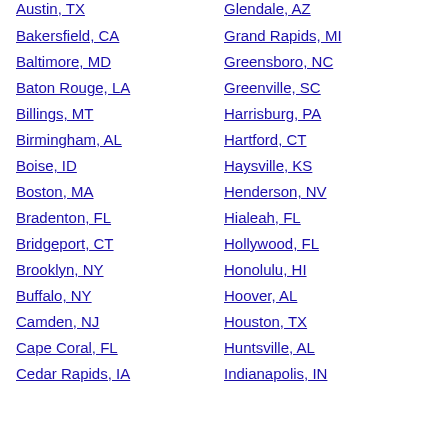Austin, TX
Glendale, AZ
Bakersfield, CA
Grand Rapids, MI
Baltimore, MD
Greensboro, NC
Baton Rouge, LA
Greenville, SC
Billings, MT
Harrisburg, PA
Birmingham, AL
Hartford, CT
Boise, ID
Haysville, KS
Boston, MA
Henderson, NV
Bradenton, FL
Hialeah, FL
Bridgeport, CT
Hollywood, FL
Brooklyn, NY
Honolulu, HI
Buffalo, NY
Hoover, AL
Camden, NJ
Houston, TX
Cape Coral, FL
Huntsville, AL
Cedar Rapids, IA
Indianapolis, IN